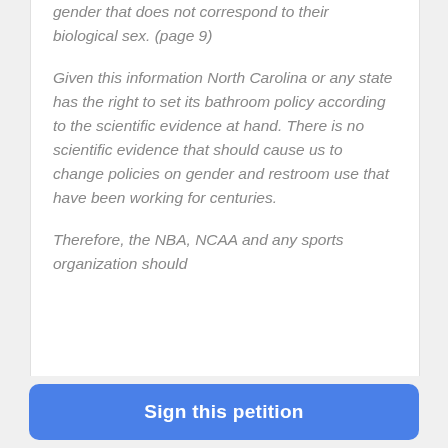gender that does not correspond to their biological sex. (page 9)
Given this information North Carolina or any state has the right to set its bathroom policy according to the scientific evidence at hand. There is no scientific evidence that should cause us to change policies on gender and restroom use that have been working for centuries.
Therefore, the NBA, NCAA and any sports organization should
Sign this petition